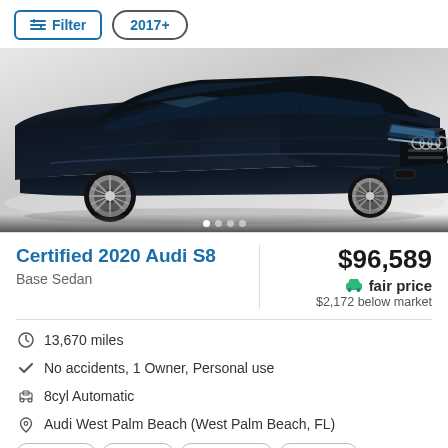Filter  2017+
[Figure (photo): Dark navy/black Audi S8 sedan viewed from front-left angle, showing distinctive Audi grille, LED headlights, and large alloy wheels on light background]
Certified 2020 Audi S8
$96,589
fair price
$2,172 below market
Base Sedan
13,670 miles
No accidents, 1 Owner, Personal use
8cyl Automatic
Audi West Palm Beach (West Palm Beach, FL)
AWD/4WD  Bluetooth  Heated seats  Navigation